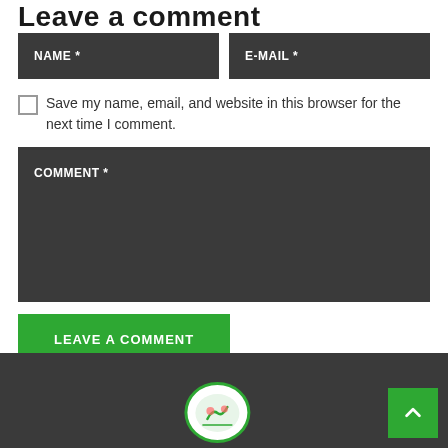Leave a comment
NAME *
E-MAIL *
Save my name, email, and website in this browser for the next time I comment.
COMMENT *
LEAVE A COMMENT
[Figure (other): Website footer with dark background, a green scroll-to-top arrow button in the bottom right corner, and a circular logo/icon on the bottom center-left area.]